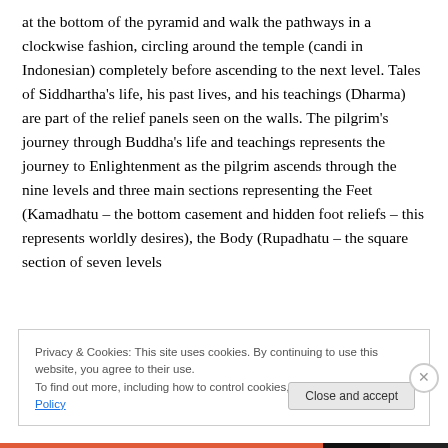at the bottom of the pyramid and walk the pathways in a clockwise fashion, circling around the temple (candi in Indonesian) completely before ascending to the next level. Tales of Siddhartha's life, his past lives, and his teachings (Dharma) are part of the relief panels seen on the walls. The pilgrim's journey through Buddha's life and teachings represents the journey to Enlightenment as the pilgrim ascends through the nine levels and three main sections representing the Feet (Kamadhatu – the bottom casement and hidden foot reliefs – this represents worldly desires), the Body (Rupadhatu – the square section of seven levels
Privacy & Cookies: This site uses cookies. By continuing to use this website, you agree to their use.
To find out more, including how to control cookies, see here: Cookie Policy
Close and accept